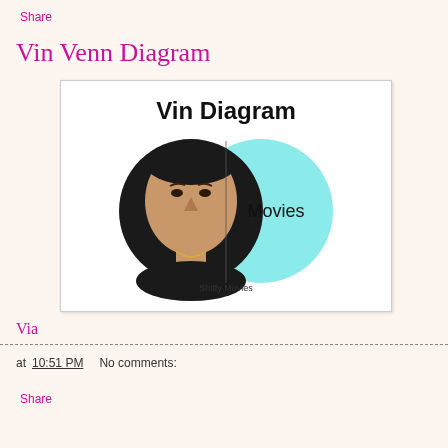Share
Vin Venn Diagram
[Figure (infographic): A Venn diagram meme titled 'Vin Diagram'. The left circle contains a photo of Vin Diesel (a bald man in dark clothing). The right circle is a solid cyan/turquoise circle labeled 'Movies'. The intersection area is labeled 'Shitty Movies' below the overlapping section.]
Via
at 10:51 PM   No comments:
Share